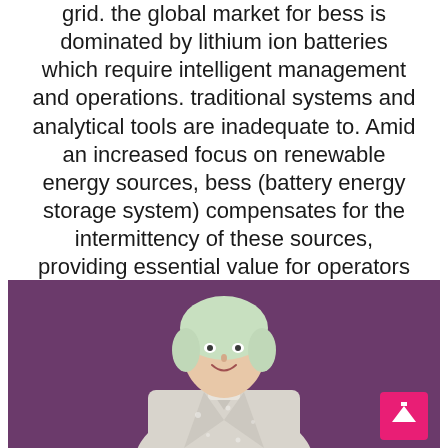grid. the global market for bess is dominated by lithium ion batteries which require intelligent management and operations. traditional systems and analytical tools are inadequate to. Amid an increased focus on renewable energy sources, bess (battery energy storage system) compensates for the intermittency of these sources, providing essential value for operators by enabling a stable supply of electricity thus avoiding curtailment of renewable energy and maximizing their revenue.
[Figure (photo): A person with light hair wearing a white jacket, photographed against a purple/mauve background. A pink scroll-to-top button is visible in the bottom right corner.]